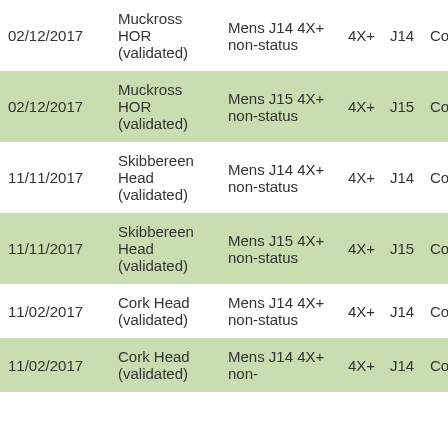| Date | Venue | Event | Boat | Age |  |
| --- | --- | --- | --- | --- | --- |
| 02/12/2017 | Muckross HOR (validated) | Mens J14 4X+ non-status | 4X+ | J14 | Co |
| 02/12/2017 | Muckross HOR (validated) | Mens J15 4X+ non-status | 4X+ | J15 | Co |
| 11/11/2017 | Skibbereen Head (validated) | Mens J14 4X+ non-status | 4X+ | J14 | Co |
| 11/11/2017 | Skibbereen Head (validated) | Mens J15 4X+ non-status | 4X+ | J15 | Co |
| 11/02/2017 | Cork Head (validated) | Mens J14 4X+ non-status | 4X+ | J14 | Co |
| 11/02/2017 | Cork Head (validated) | Mens J14 4X+ non- | 4X+ | J14 | Co |